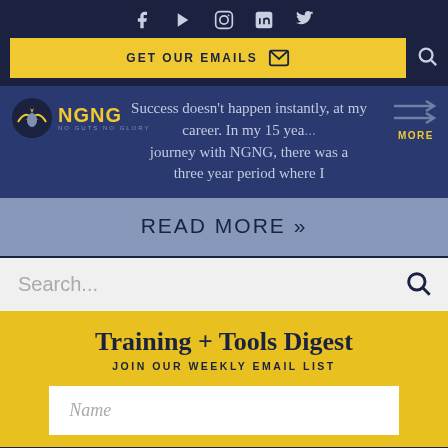Social media icons: Facebook, YouTube, Instagram, LinkedIn, Twitter
GET OUR EMAILS
Success doesn't happen instantly, at my career. In my 15 yea... journey with NGNG, there was a three year period where I
READ MORE »
Search...
Training + Tools Digest
JOIN OUR WEEKLY EMAIL LIST
Name